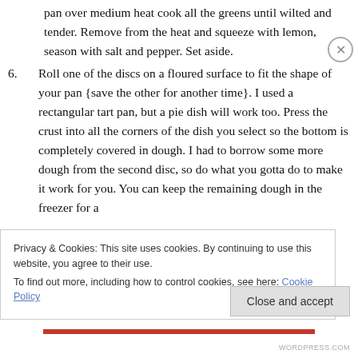pan over medium heat cook all the greens until wilted and tender. Remove from the heat and squeeze with lemon, season with salt and pepper. Set aside.
6. Roll one of the discs on a floured surface to fit the shape of your pan {save the other for another time}. I used a rectangular tart pan, but a pie dish will work too. Press the crust into all the corners of the dish you select so the bottom is completely covered in dough. I had to borrow some more dough from the second disc, so do what you gotta do to make it work for you. You can keep the remaining dough in the freezer for a
Privacy & Cookies: This site uses cookies. By continuing to use this website, you agree to their use.
To find out more, including how to control cookies, see here: Cookie Policy